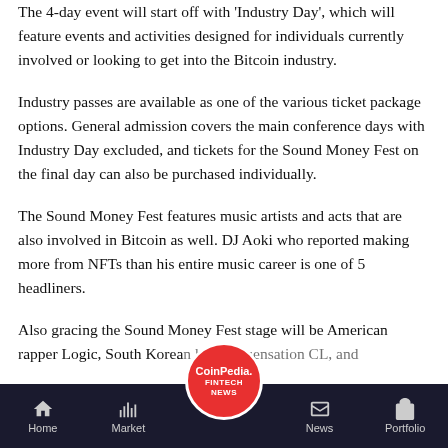The 4-day event will start off with 'Industry Day', which will feature events and activities designed for individuals currently involved or looking to get into the Bitcoin industry.
Industry passes are available as one of the various ticket package options. General admission covers the main conference days with Industry Day excluded, and tickets for the Sound Money Fest on the final day can also be purchased individually.
The Sound Money Fest features music artists and acts that are also involved in Bitcoin as well. DJ Aoki who reported making more from NFTs than his entire music career is one of 5 headliners.
Also gracing the Sound Money Fest stage will be American rapper Logic, South Korean hip-hop sensation CL, and
Home | Market | CoinPedia FINTECH NEWS | News | Portfolio